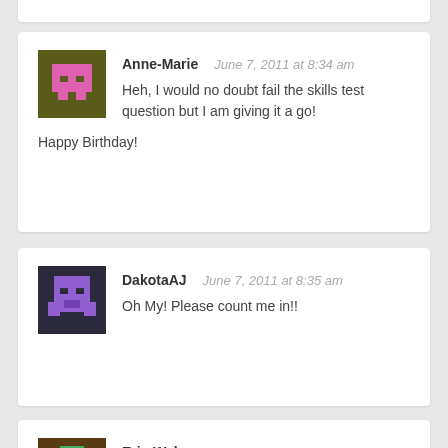Anne-Marie — June 7, 2011 at 8:34 am
Heh, I would no doubt fail the skills test question but I am giving it a go!
Happy Birthday!
DakotaAJ — June 7, 2011 at 8:35 am
Oh My! Please count me in!!
Erin Weber — June 7, 2011 at 8:36 am
Cashmere sounds like a great birthday gift for